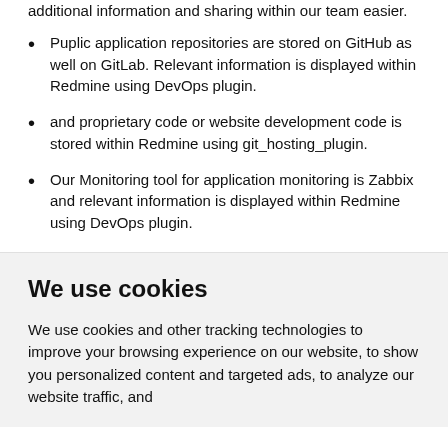additional information and sharing within our team easier.
Puplic application repositories are stored on GitHub as well on GitLab. Relevant information is displayed within Redmine using DevOps plugin.
and proprietary code or website development code is stored within Redmine using git_hosting_plugin.
Our Monitoring tool for application monitoring is Zabbix and relevant information is displayed within Redmine using DevOps plugin.
We use cookies
We use cookies and other tracking technologies to improve your browsing experience on our website, to show you personalized content and targeted ads, to analyze our website traffic, and